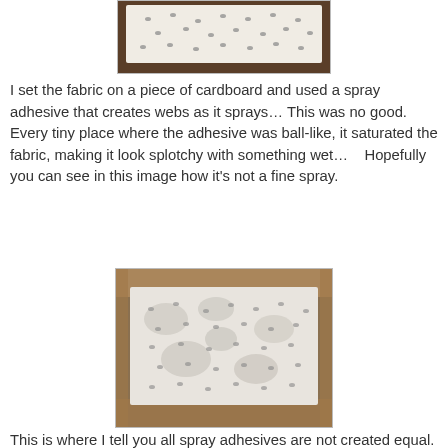[Figure (photo): Fabric with small bird/chicken print pattern laid on a dark wooden surface, viewed from above, showing top portion cut off]
I set the fabric on a piece of cardboard and used a spray adhesive that creates webs as it sprays… This was no good. Every tiny place where the adhesive was ball-like, it saturated the fabric, making it look splotchy with something wet…   Hopefully you can see in this image how it's not a fine spray.
[Figure (photo): White fabric with small chicken/bird print pattern laid on a cardboard/carpet surface, showing splotchy wet-looking areas from spray adhesive that was not a fine mist]
This is where I tell you all spray adhesives are not created equal. There are some that are heavy-duty and great to us...